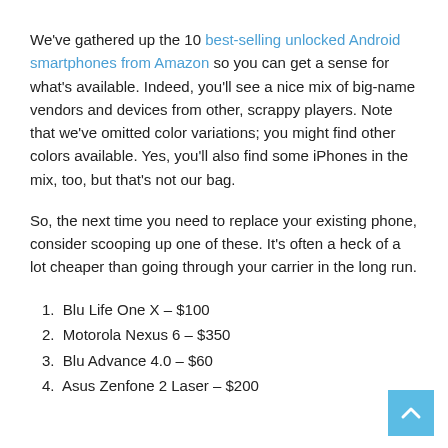We've gathered up the 10 best-selling unlocked Android smartphones from Amazon so you can get a sense for what's available. Indeed, you'll see a nice mix of big-name vendors and devices from other, scrappy players. Note that we've omitted color variations; you might find other colors available. Yes, you'll also find some iPhones in the mix, too, but that's not our bag.
So, the next time you need to replace your existing phone, consider scooping up one of these. It's often a heck of a lot cheaper than going through your carrier in the long run.
1. Blu Life One X – $100
2. Motorola Nexus 6 – $350
3. Blu Advance 4.0 – $60
4. Asus Zenfone 2 Laser – $200